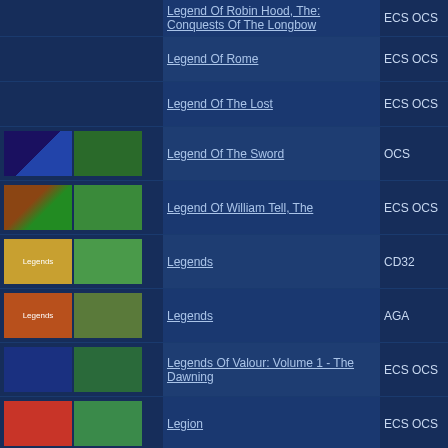| Thumbnail | Name | Type |
| --- | --- | --- |
|  | Legend Of Robin Hood, The: Conquests Of The Longbow | ECS OCS |
|  | Legend Of Rome | ECS OCS |
|  | Legend Of The Lost | ECS OCS |
| [thumbs] | Legend Of The Sword | OCS |
| [thumbs] | Legend Of William Tell, The | ECS OCS |
| [thumbs] | Legends | CD32 |
| [thumbs] | Legends | AGA |
| [thumbs] | Legends Of Valour: Volume 1 - The Dawning | ECS OCS |
| [thumbs] | Legion | ECS OCS |
| [thumbs] | Leicester Powerbox | ECS OCS |
| [thumbs] | Leisure Suit Larry 3: Passionate Patti In Pursuit Of The Pulsating Pectorals! | ECS OCS |
#-9  A  B  C  D  E  F  G  H  I  J  K  [ L ]  M  N  O
Total of game listing generated: 88,921,
Coded by RCK of abime.net - Content © 1998-2022 HOL TEAM - Online amiga data